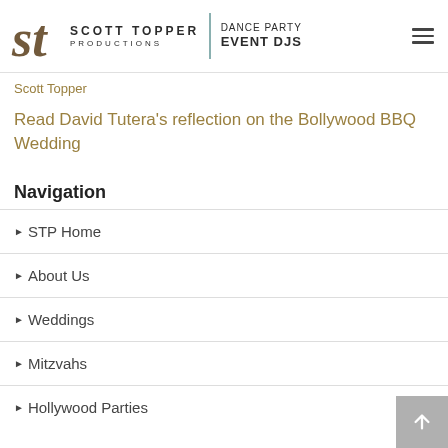Scott Topper Productions | Dance Party Event DJs
Scott Topper
Read David Tutera's reflection on the Bollywood BBQ Wedding
Navigation
STP Home
About Us
Weddings
Mitzvahs
Hollywood Parties